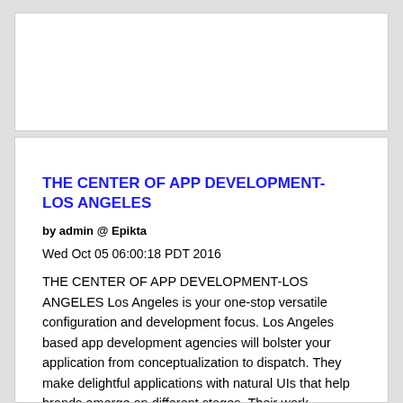[Figure (other): Empty white card/advertisement block at top of page]
THE CENTER OF APP DEVELOPMENT- LOS ANGELES
by admin @ Epikta
Wed Oct 05 06:00:18 PDT 2016
THE CENTER OF APP DEVELOPMENT-LOS ANGELES Los Angeles is your one-stop versatile configuration and development focus. Los Angeles based app development agencies will bolster your application from conceptualization to dispatch. They make delightful applications with natural UIs that help brands emerge on different stages. Their work...